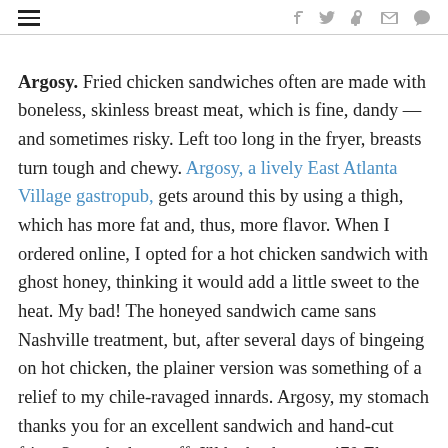☰  f  🐦  p  reddit  ✉  💬
Argosy. Fried chicken sandwiches often are made with boneless, skinless breast meat, which is fine, dandy — and sometimes risky. Left too long in the fryer, breasts turn tough and chewy. Argosy, a lively East Atlanta Village gastropub, gets around this by using a thigh, which has more fat and, thus, more flavor. When I ordered online, I opted for a hot chicken sandwich with ghost honey, thinking it would add a little sweet to the heat. My bad! The honeyed sandwich came sans Nashville treatment, but, after several days of bingeing on hot chicken, the plainer version was something of a relief to my chile-ravaged innards. Argosy, my stomach thanks you for an excellent sandwich and hand-cut fries. Save the hot stuff; I'll be back soon. 470 Flat Shoals